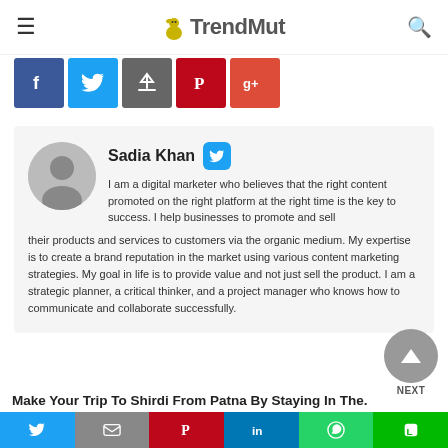TrendMut
[Figure (other): Social share buttons row: Facebook, Twitter, Email/Upload, Pinterest, Google+]
Sadia Khan
I am a digital marketer who believes that the right content promoted on the right platform at the right time is the key to success. I help businesses to promote and sell their products and services to customers via the organic medium. My expertise is to create a brand reputation in the market using various content marketing strategies. My goal in life is to provide value and not just sell the product. I am a strategic planner, a critical thinker, and a project manager who knows how to communicate and collaborate successfully.
[Figure (other): NEXT navigation button (circle with up arrow)]
Make Your Trip To Shirdi From Patna By Staying In The...
[Figure (other): Bottom social share bar: Twitter, Mail, Pinterest, LinkedIn, WhatsApp, Line]